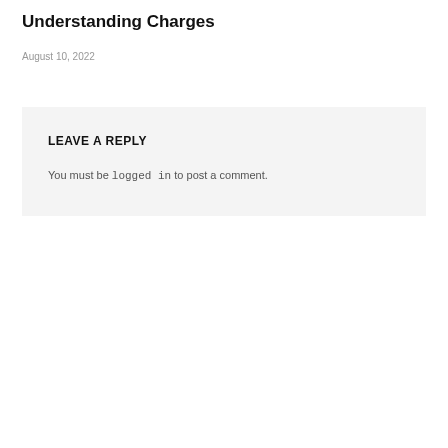Understanding Charges
August 10, 2022
LEAVE A REPLY
You must be logged in to post a comment.